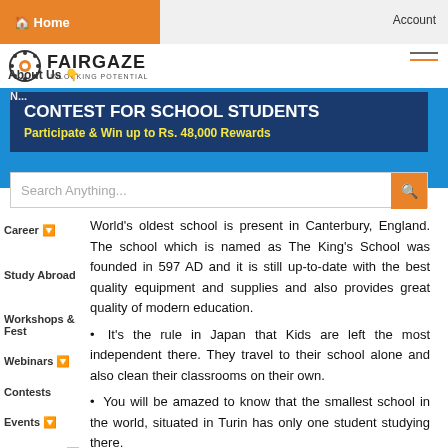🏠 Home | Account
[Figure (logo): Fairgaze logo with gear icon and text FAIRGAZE UNLOCKING POTENTIAL]
About Us
[Figure (infographic): Banner: CONTEST FOR SCHOOL STUDENTS — Participate & Win up to Rs. 48,000 Rewards]
Search Anything...
World's oldest school is present in Canterbury, England. The school which is named as The King's School was founded in 597 AD and it is still up-to-date with the best quality equipment and supplies and also provides great quality of modern education.
It's the rule in Japan that Kids are left the most independent there. They travel to their school alone and also clean their classrooms on their own.
You will be amazed to know that the smallest school in the world, situated in Turin has only one student studying there.